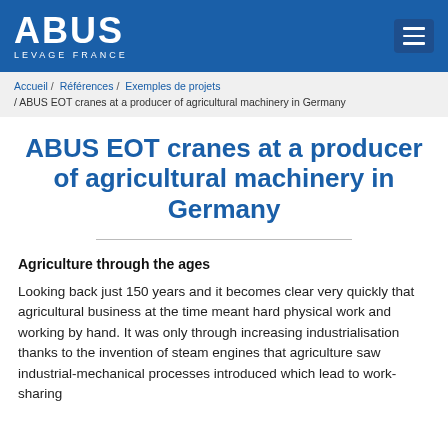ABUS LEVAGE FRANCE
Accueil / Références / Exemples de projets / ABUS EOT cranes at a producer of agricultural machinery in Germany
ABUS EOT cranes at a producer of agricultural machinery in Germany
Agriculture through the ages
Looking back just 150 years and it becomes clear very quickly that agricultural business at the time meant hard physical work and working by hand. It was only through increasing industrialisation thanks to the invention of steam engines that agriculture saw industrial-mechanical processes introduced which lead to work-sharing